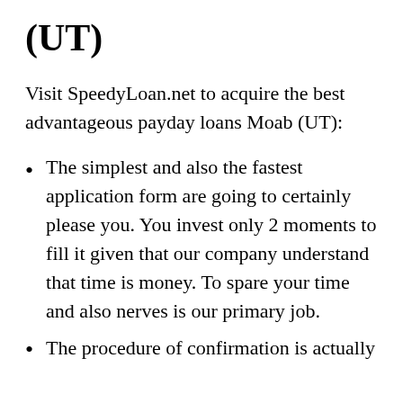(UT)
Visit SpeedyLoan.net to acquire the best advantageous payday loans Moab (UT):
The simplest and also the fastest application form are going to certainly please you. You invest only 2 moments to fill it given that our company understand that time is money. To spare your time and also nerves is our primary job.
The procedure of confirmation is actually